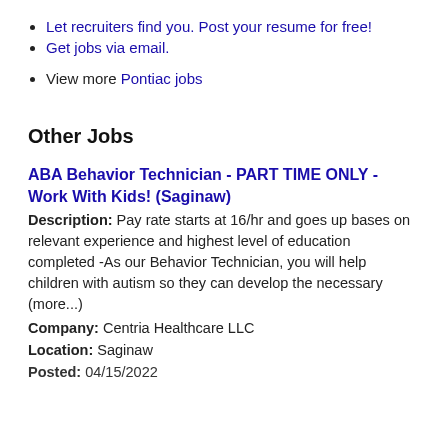Let recruiters find you. Post your resume for free!
Get jobs via email.
View more Pontiac jobs
Other Jobs
ABA Behavior Technician - PART TIME ONLY - Work With Kids! (Saginaw)
Description: Pay rate starts at 16/hr and goes up bases on relevant experience and highest level of education completed -As our Behavior Technician, you will help children with autism so they can develop the necessary (more...)
Company: Centria Healthcare LLC
Location: Saginaw